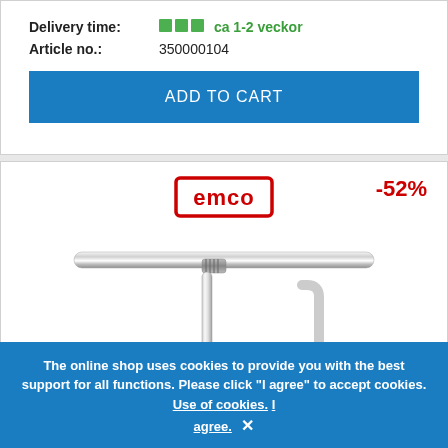Delivery time: ca 1-2 veckor
Article no.: 350000104
ADD TO CART
[Figure (logo): EMCO brand logo in red with rectangular border]
-52%
[Figure (photo): Chrome toilet paper holder mounted on a horizontal bar, EMCO System 2 product, polished chrome finish]
EMCO System 2 - ... - polished chrome/ti...
The online shop uses cookies to provide you with the best support for all functions. Please click "I agree" to accept cookies. Use of cookies. I agree.